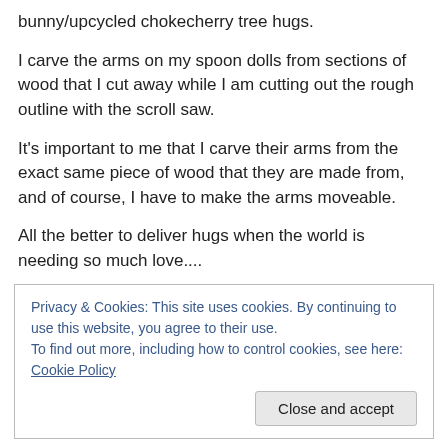bunny/upcycled chokecherry tree hugs.
I carve the arms on my spoon dolls from sections of wood that I cut away while I am cutting out the rough outline with the scroll saw.
It's important to me that I carve their arms from the exact same piece of wood that they are made from, and of course, I have to make the arms moveable.
All the better to deliver hugs when the world is needing so much love....
Privacy & Cookies: This site uses cookies. By continuing to use this website, you agree to their use.
To find out more, including how to control cookies, see here: Cookie Policy
No, I am not bonkers.